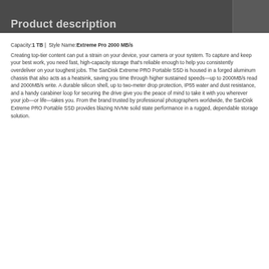Product description
Capacity:1 TB |  Style Name:Extreme Pro 2000 MB/s
Creating top-tier content can put a strain on your device, your camera or your system. To capture and keep your best work, you need fast, high-capacity storage that's reliable enough to help you consistently overdeliver on your toughest jobs. The SanDisk Extreme PRO Portable SSD is housed in a forged aluminum chassis that also acts as a heatsink, saving you time through higher sustained speeds—up to 2000MB/s read and 2000MB/s write. A durable silicon shell, up to two-meter drop protection, IP55 water and dust resistance, and a handy carabiner loop for securing the drive give you the peace of mind to take it with you wherever your job—or life—takes you. From the brand trusted by professional photographers worldwide, the SanDisk Extreme PRO Portable SSD provides blazing NVMe solid state performance in a rugged, dependable storage solution.